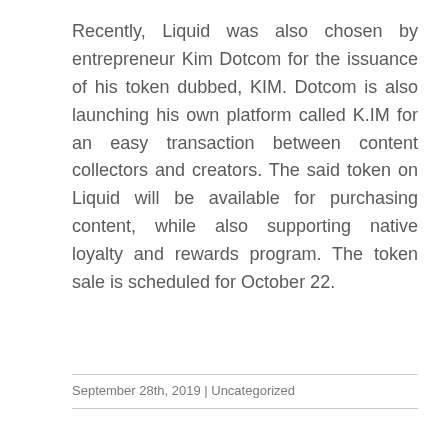Recently, Liquid was also chosen by entrepreneur Kim Dotcom for the issuance of his token dubbed, KIM. Dotcom is also launching his own platform called K.IM for an easy transaction between content collectors and creators. The said token on Liquid will be available for purchasing content, while also supporting native loyalty and rewards program. The token sale is scheduled for October 22.
Source link
September 28th, 2019 | Uncategorized